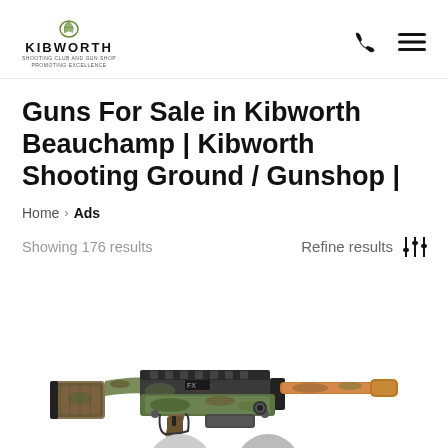KIBWORTH SHOOTING CLUB AND GUN SHOP | PROMOTING EXCELLENCE
Guns For Sale in Kibworth Beauchamp | Kibworth Shooting Ground / Gunshop |
Home > Ads
Showing 176 results   Refine results
[Figure (photo): A camouflage-patterned PCP air rifle / gun displayed horizontally against a white background, with tactical stock, scope rail, and suppressor.]